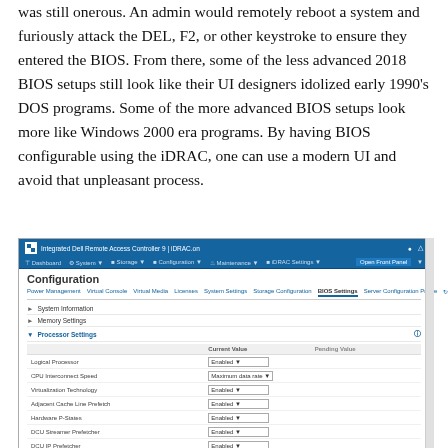was still onerous. An admin would remotely reboot a system and furiously attack the DEL, F2, or other keystroke to ensure they entered the BIOS. From there, some of the less advanced 2018 BIOS setups still look like their UI designers idolized early 1990's DOS programs. Some of the more advanced BIOS setups look more like Windows 2000 era programs. By having BIOS configurable using the iDRAC, one can use a modern UI and avoid that unpleasant process.
[Figure (screenshot): Screenshot of Dell iDRAC (Integrated Dell Remote Access Controller) web interface showing the Configuration page with BIOS Settings tab active and Processor Settings expanded, showing various CPU settings with dropdown menus for Current Value and Pending Value columns.]